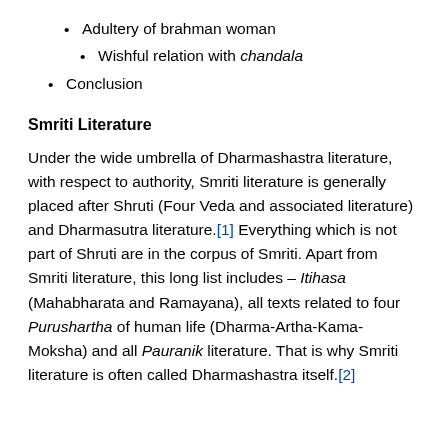Adultery of brahman woman
Wishful relation with chandala
Conclusion
Smriti Literature
Under the wide umbrella of Dharmashastra literature, with respect to authority, Smriti literature is generally placed after Shruti (Four Veda and associated literature) and Dharmasutra literature.[1] Everything which is not part of Shruti are in the corpus of Smriti. Apart from Smriti literature, this long list includes – Itihasa (Mahabharata and Ramayana), all texts related to four Purushartha of human life (Dharma-Artha-Kama-Moksha) and all Pauranik literature. That is why Smriti literature is often called Dharmashastra itself.[2]